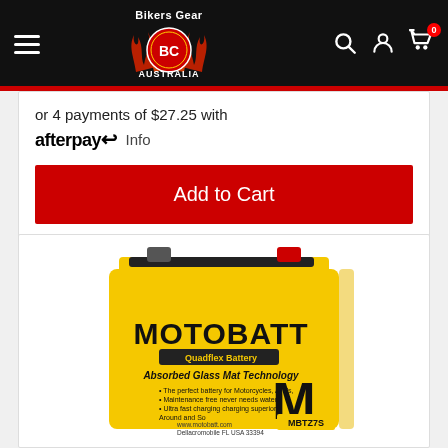Bikers Gear Australia
or 4 payments of $27.25 with afterpay Info
Add to Cart
[Figure (photo): MotoBatt MBTZ7S yellow AGM motorcycle battery product photo]